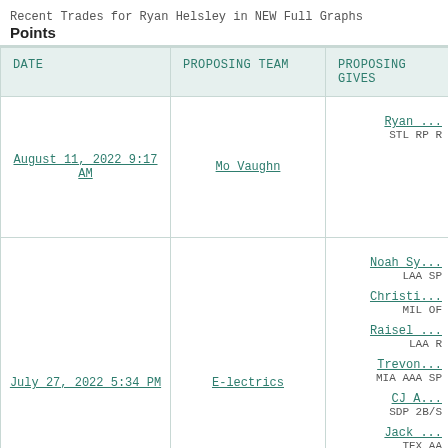Recent Trades for Ryan Helsley in NEW Full Graphs Points
| DATE | PROPOSING TEAM | PROPOSING TEAM GIVES |
| --- | --- | --- |
| August 11, 2022 9:17 AM | Mo Vaughn | Ryan ...
STL RP R |
| July 27, 2022 5:34 PM | E-lectrics | Noah Sy...
LAA SP
Christi...
MIL OF
Raisel...
LAA R
Trevon...
MIA AAA SP
CJ A...
SDP 2B/S
Jack...
TEX AA |